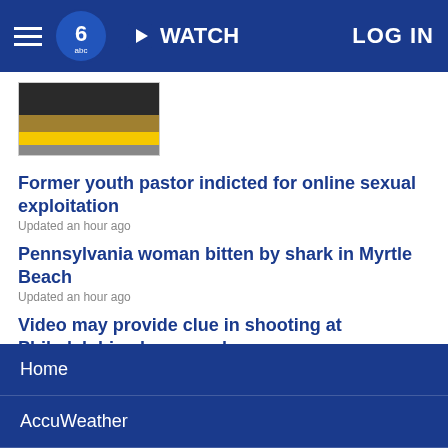WATCH  LOG IN
[Figure (photo): Thumbnail image with yellow caution tape]
Former youth pastor indicted for online sexual exploitation
Updated an hour ago
Pennsylvania woman bitten by shark in Myrtle Beach
Updated an hour ago
Video may provide clue in shooting at Philadelphia playground
Pa. library director is one of few Black men to hold position
Updated 3 hours ago
SHOW MORE
Home
AccuWeather